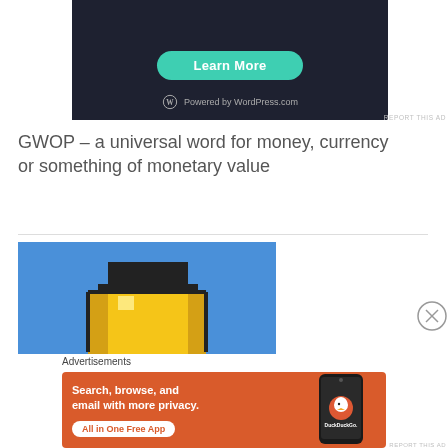[Figure (screenshot): Dark background WordPress.com ad with 'Learn More' teal button and 'Powered by WordPress.com' text]
REPORT THIS AD
GWOP – a universal word for money, currency or something of monetary value
[Figure (screenshot): Blue background pixel art duck/coin image advertisement]
[Figure (screenshot): Close/X button circle]
Advertisements
[Figure (screenshot): DuckDuckGo orange advertisement: 'Search, browse, and email with more privacy. All in One Free App' with phone image and DuckDuckGo logo]
REPORT THIS AD